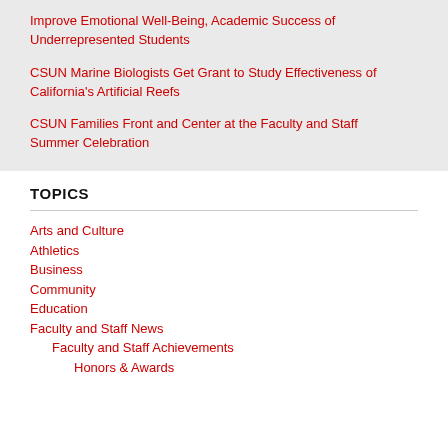Improve Emotional Well-Being, Academic Success of Underrepresented Students
CSUN Marine Biologists Get Grant to Study Effectiveness of California's Artificial Reefs
CSUN Families Front and Center at the Faculty and Staff Summer Celebration
TOPICS
Arts and Culture
Athletics
Business
Community
Education
Faculty and Staff News
Faculty and Staff Achievements
Honors & Awards